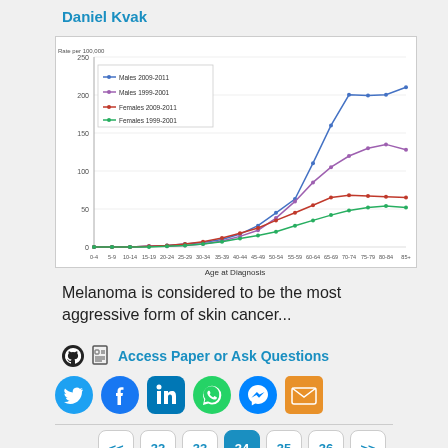Daniel Kvak
[Figure (line-chart): Rate per 100,000]
Age at Diagnosis
Melanoma is considered to be the most aggressive form of skin cancer...
Access Paper or Ask Questions
[Figure (infographic): Social sharing icons: Twitter, Facebook, LinkedIn, WhatsApp, Messenger, Email]
<< 32 33 34 35 36 >>